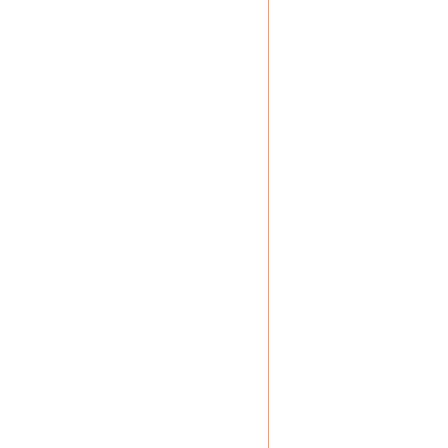mlb jerseys
moncler outlet
jordan shoes
ralph lauren polo
vibram five fingers
jordans
tod's outlet
ray ban sunglasses
north face